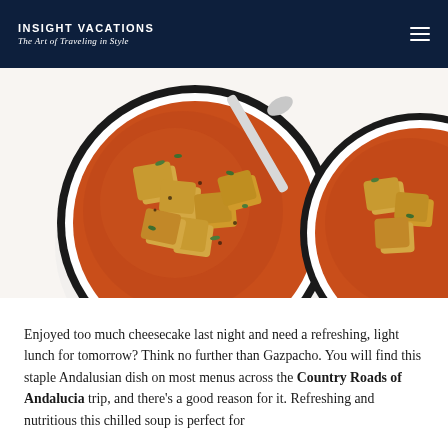INSIGHT VACATIONS
The Art of Traveling in Style
[Figure (photo): Two white bowls of gazpacho soup with croutons and green herbs on a white background, photographed from above. The left bowl is fully visible with a silver spoon, the right bowl is partially cropped. The soup is a rich orange-red color.]
Enjoyed too much cheesecake last night and need a refreshing, light lunch for tomorrow? Think no further than Gazpacho. You will find this staple Andalusian dish on most menus across the Country Roads of Andalucia trip, and there's a good reason for it. Refreshing and nutritious this chilled soup is perfect for...